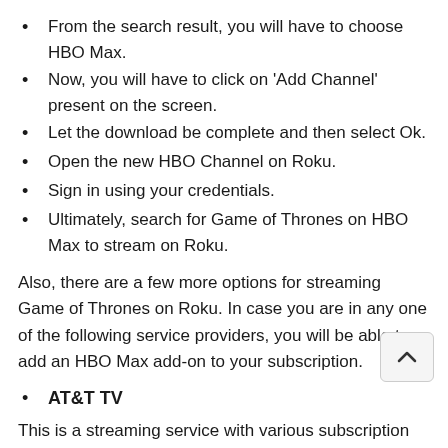From the search result, you will have to choose HBO Max.
Now, you will have to click on 'Add Channel' present on the screen.
Let the download be complete and then select Ok.
Open the new HBO Channel on Roku.
Sign in using your credentials.
Ultimately, search for Game of Thrones on HBO Max to stream on Roku.
Also, there are a few more options for streaming Game of Thrones on Roku. In case you are in any one of the following service providers, you will be able to add an HBO Max add-on to your subscription.
AT&T TV
This is a streaming service with various subscription plans channel lineups. Its premier plan streams HBO channels, such as HBO East, HBO 2 East, HBO Latino, and HBO Family East. So, you will be able to stream your favorite show in it.